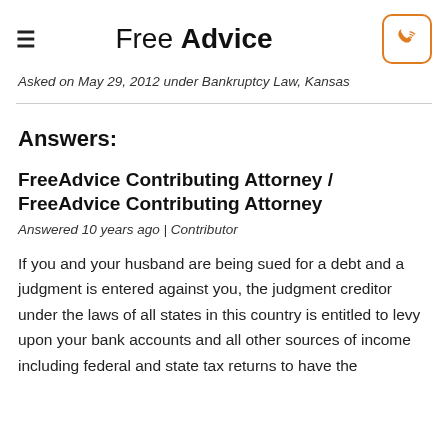Free Advice
Asked on May 29, 2012 under Bankruptcy Law, Kansas
Answers:
FreeAdvice Contributing Attorney / FreeAdvice Contributing Attorney
Answered 10 years ago | Contributor
If you and your husband are being sued for a debt and a judgment is entered against you, the judgment creditor under the laws of all states in this country is entitled to levy upon your bank accounts and all other sources of income including federal and state tax returns to have the